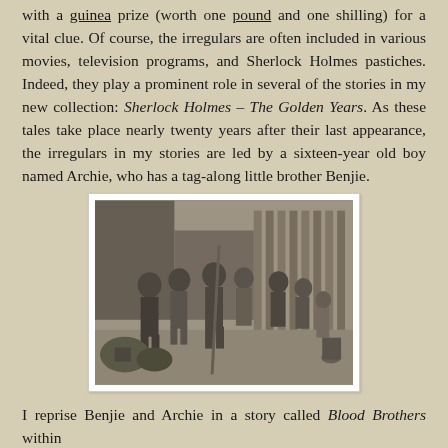with a guinea prize (worth one pound and one shilling) for a vital clue. Of course, the irregulars are often included in various movies, television programs, and Sherlock Holmes pastiches. Indeed, they play a prominent role in several of the stories in my new collection: Sherlock Holmes – The Golden Years. As these tales take place nearly twenty years after their last appearance, the irregulars in my stories are led by a sixteen-year old boy named Archie, who has a tag-along little brother Benjie.
[Figure (photo): Black and white historical photograph of a group of children, likely Victorian-era street children, standing outdoors near a wooden fence. One child holds a long stick or pole. The scene appears to be in a yard or alley.]
I reprise Benjie and Archie in a story called Blood Brothers within